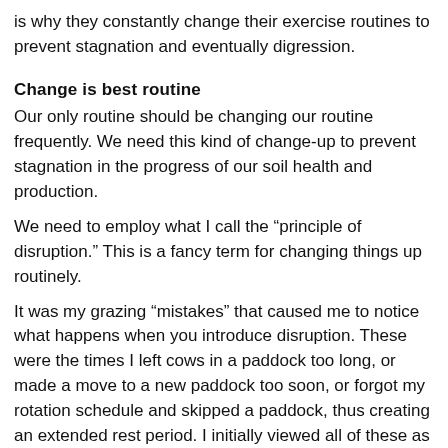is why they constantly change their exercise routines to prevent stagnation and eventually digression.
Change is best routine
Our only routine should be changing our routine frequently. We need this kind of change-up to prevent stagnation in the progress of our soil health and production.
We need to employ what I call the “principle of disruption.” This is a fancy term for changing things up routinely.
It was my grazing “mistakes” that caused me to notice what happens when you introduce disruption. These were the times I left cows in a paddock too long, or made a move to a new paddock too soon, or forgot my rotation schedule and skipped a paddock, thus creating an extended rest period. I initially viewed all of these as mistakes. I had messed up and not followed my routine.